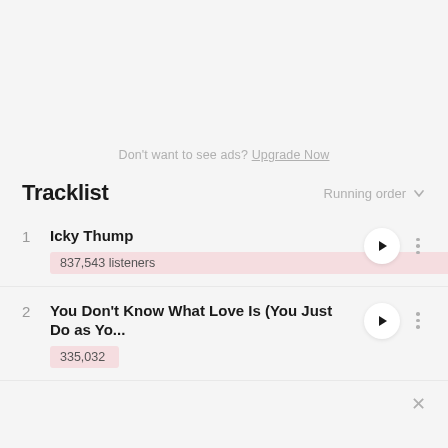Don't want to see ads? Upgrade Now
Tracklist
Running order
1 Icky Thump 837,543 listeners
2 You Don't Know What Love Is (You Just Do as Yo... 335,032